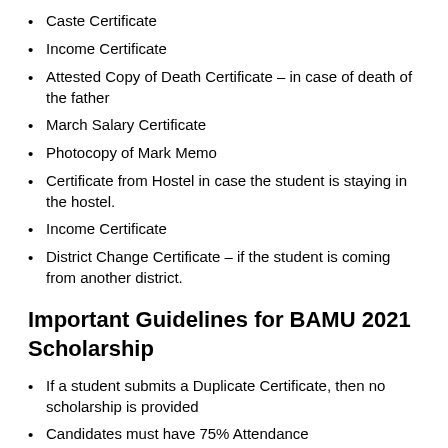Caste Certificate
Income Certificate
Attested Copy of Death Certificate – in case of death of the father
March Salary Certificate
Photocopy of Mark Memo
Certificate from Hostel in case the student is staying in the hostel.
Income Certificate
District Change Certificate – if the student is coming from another district.
Important Guidelines for BAMU 2021 Scholarship
If a student submits a Duplicate Certificate, then no scholarship is provided
Candidates must have 75% Attendance
The Income of the Guardian should not be less than the limit